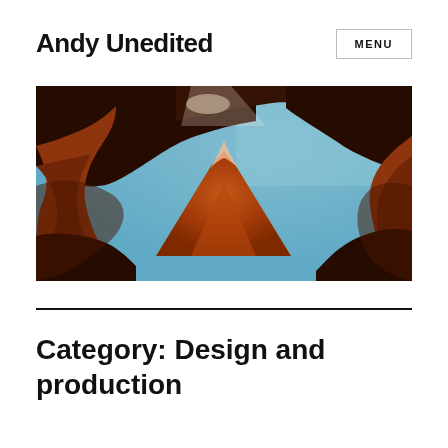Andy Unedited
MENU
[Figure (photo): Upward view through a narrow canyon slot showing red sandstone rock formations framing a mountain peak against a blue sky — Antelope Canyon style landscape photo.]
Category: Design and production